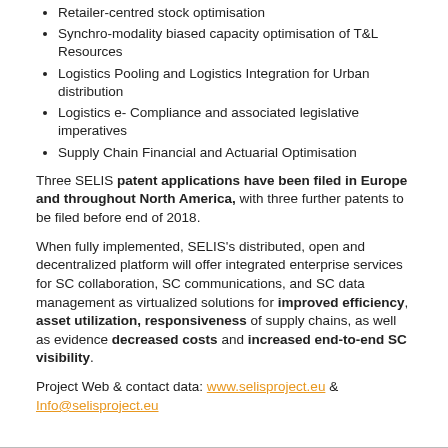Retailer-centred stock optimisation
Synchro-modality biased capacity optimisation of T&L Resources
Logistics Pooling and Logistics Integration for Urban distribution
Logistics e- Compliance and associated legislative imperatives
Supply Chain Financial and Actuarial Optimisation
Three SELIS patent applications have been filed in Europe and throughout North America, with three further patents to be filed before end of 2018.
When fully implemented, SELIS’s distributed, open and decentralized platform will offer integrated enterprise services for SC collaboration, SC communications, and SC data management as virtualized solutions for improved efficiency, asset utilization, responsiveness of supply chains, as well as evidence decreased costs and increased end-to-end SC visibility.
Project Web & contact data: www.selisproject.eu & Info@selisproject.eu